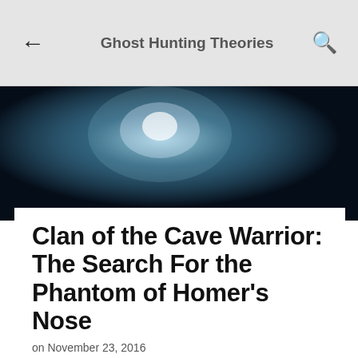Ghost Hunting Theories
[Figure (photo): Dark atmospheric background image with teal/blue glowing light effect, suggesting a cave or dark environment]
Clan of the Cave Warrior: The Search For the Phantom of Homer's Nose
on November 23, 2016
[Figure (other): Share icon (less-than symbol with dots, representing a share button)]
[Figure (photo): Dark cave or tunnel image with bright glowing orb/light on left and teal text 'Clan of the' on right]